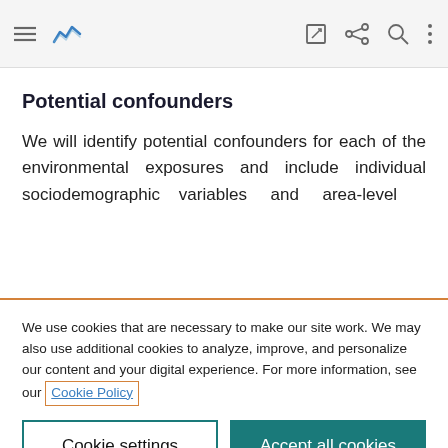[Navigation bar with menu, chart icon, edit, share, search, more icons]
Potential confounders
We will identify potential confounders for each of the environmental exposures and include individual sociodemographic variables and area-level
We use cookies that are necessary to make our site work. We may also use additional cookies to analyze, improve, and personalize our content and your digital experience. For more information, see our Cookie Policy
Cookie settings
Accept all cookies